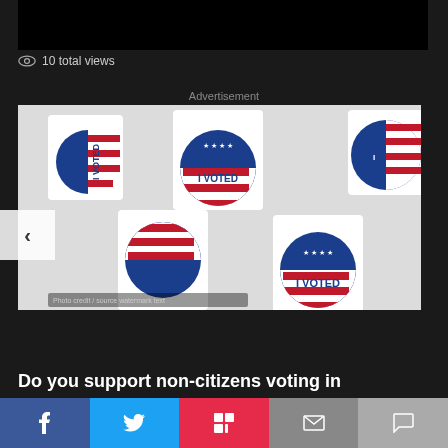[Figure (photo): Black top bar / video player area]
10 total views
Advertisement
[Figure (photo): Multiple 'I VOTED' stickers with American flag design scattered on a white surface]
Do you support non-citizens voting in
[Figure (infographic): Social share bar with Facebook, Twitter, Flipboard, Email, and Comment buttons]